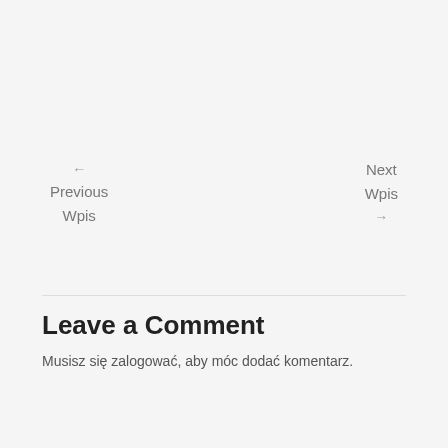← Previous Wpis
Next Wpis →
Leave a Comment
Musisz się zalogować, aby móc dodać komentarz.